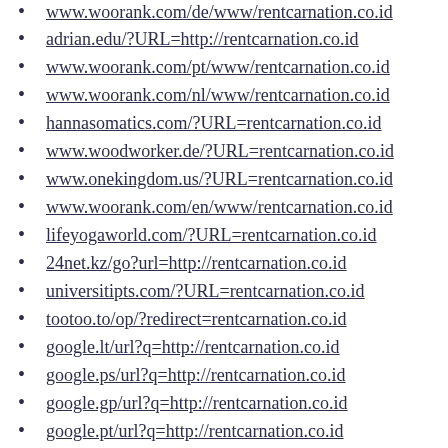www.woorank.com/de/www/rentcarnation.co.id
adrian.edu/?URL=http://rentcarnation.co.id
www.woorank.com/pt/www/rentcarnation.co.id
www.woorank.com/nl/www/rentcarnation.co.id
hannasomatics.com/?URL=rentcarnation.co.id
www.woodworker.de/?URL=rentcarnation.co.id
www.onekingdom.us/?URL=rentcarnation.co.id
www.woorank.com/en/www/rentcarnation.co.id
lifeyogaworld.com/?URL=rentcarnation.co.id
24net.kz/go?url=http://rentcarnation.co.id
universitipts.com/?URL=rentcarnation.co.id
tootoo.to/op/?redirect=rentcarnation.co.id
google.lt/url?q=http://rentcarnation.co.id
google.ps/url?q=http://rentcarnation.co.id
google.gp/url?q=http://rentcarnation.co.id
google.pt/url?q=http://rentcarnation.co.id
google.cg/url?q=http://rentcarnation.co.id
google.mv/url?q=http://rentcarnation.co.id
google.ne/url?q=http://rentcarnation.co.id